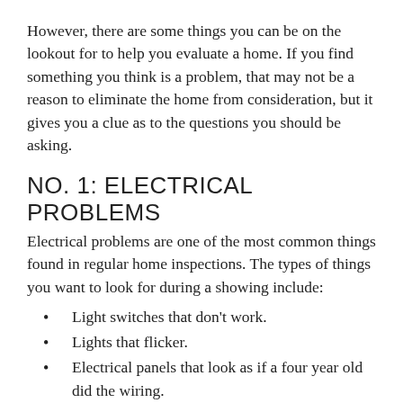However, there are some things you can be on the lookout for to help you evaluate a home. If you find something you think is a problem, that may not be a reason to eliminate the home from consideration, but it gives you a clue as to the questions you should be asking.
NO. 1: ELECTRICAL PROBLEMS
Electrical problems are one of the most common things found in regular home inspections. The types of things you want to look for during a showing include:
Light switches that don't work.
Lights that flicker.
Electrical panels that look as if a four year old did the wiring.
Extension cords running between rooms.